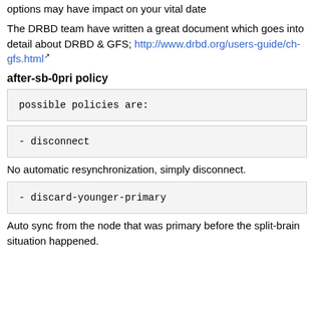options may have impact on your vital date
The DRBD team have written a great document which goes into detail about DRBD & GFS; http://www.drbd.org/users-guide/ch-gfs.html
after-sb-0pri policy
possible policies are:
- disconnect
No automatic resynchronization, simply disconnect.
- discard-younger-primary
Auto sync from the node that was primary before the split-brain situation happened.